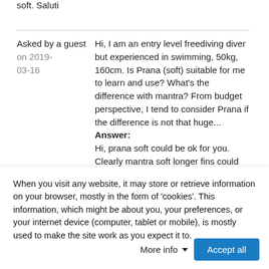soft. Saluti
Asked by a guest on 2019-03-16
Hi, I am an entry level freediving diver but experienced in swimming, 50kg, 160cm. Is Prana (soft) suitable for me to learn and use? What's the difference with mantra? From budget perspective, I tend to consider Prana if the difference is not that huge...
Answer:
Hi, prana soft could be ok for you. Clearly mantra soft longer fins could be better after you gain more experience with freediving. a longer blade has higher performance expecially for
When you visit any website, it may store or retrieve information on your browser, mostly in the form of 'cookies'. This information, which might be about you, your preferences, or your internet device (computer, tablet or mobile), is mostly used to make the site work as you expect it to.